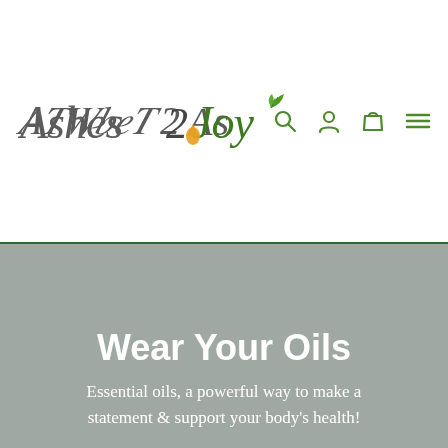[Figure (logo): Ashes 2 Joy logo with cursive script, orange oil drop, and green leaf accents, accompanied by green navigation icons for search, account, cart, and menu]
Wear Your Oils
Essential oils, a powerful way to make a statement & support your body's health!